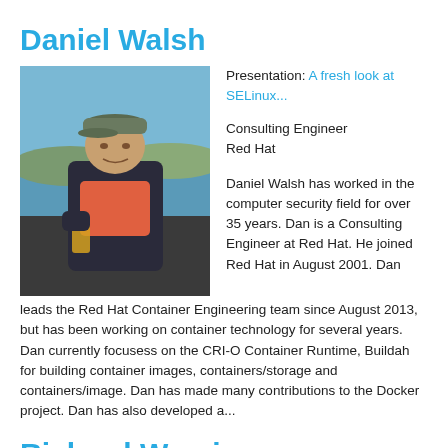Daniel Walsh
[Figure (photo): Photo of Daniel Walsh, a man wearing a flat cap and dark jacket with a salmon/orange v-neck sweater, holding a dark beer glass, standing outdoors near water with a scenic background.]
Presentation: A fresh look at SELinux...
Consulting Engineer
Red Hat
Daniel Walsh has worked in the computer security field for over 35 years. Dan is a Consulting Engineer at Red Hat. He joined Red Hat in August 2001. Dan leads the Red Hat Container Engineering team since August 2013, but has been working on container technology for several years. Dan currently focusess on the CRI-O Container Runtime, Buildah for building container images, containers/storage and containers/image. Dan has made many contributions to the Docker project. Dan has also developed a...
Richard Wareing